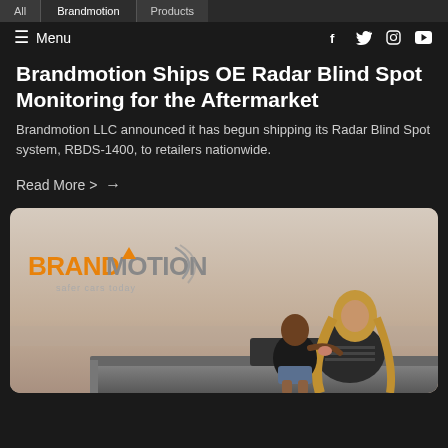All | Brandmotion | Products
≡ Menu  [social icons: f, twitter, instagram, youtube]
Brandmotion Ships OE Radar Blind Spot Monitoring for the Aftermarket
Brandmotion LLC announced it has begun shipping its Radar Blind Spot system, RBDS-1400, to retailers nationwide.
Read More >  →
[Figure (photo): Brandmotion promotional photo showing a woman and child sitting on top of a car roof, looking up at the sky. The Brandmotion logo with 'safer cars today' tagline is overlaid on the left side of the image.]